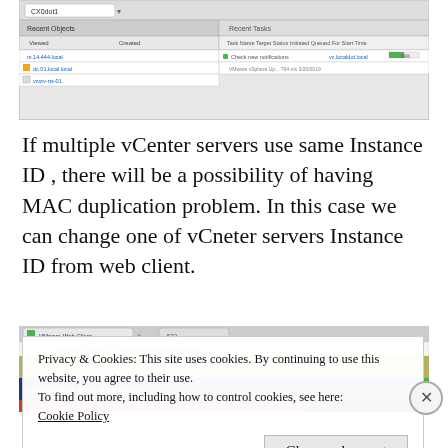[Figure (screenshot): VMware vSphere web client screenshot showing Recent Objects and Recent Tasks panels with task check notifications and status progress.]
If multiple vCenter servers use same Instance ID , there will be a possibility of having MAC duplication problem. In this case we can change one of vCneter servers Instance ID from web client.
[Figure (screenshot): VMware vSphere Web Client browser screenshot showing address bar with IP address and a notification banner.]
Privacy & Cookies: This site uses cookies. By continuing to use this website, you agree to their use.
To find out more, including how to control cookies, see here: Cookie Policy
Close and accept